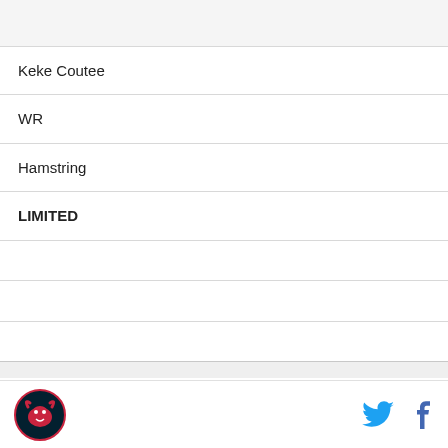|  |
| Keke Coutee |
| WR |
| Hamstring |
| LIMITED |
|  |
|  |
|  |
| Zach Fulton |
| G |
| Ankle |
| LIMITED |
|  |
Logo | Twitter | Facebook